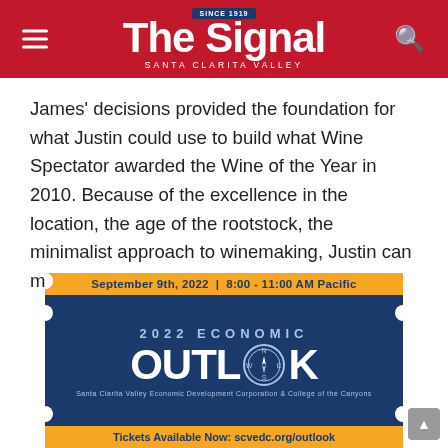The Signal — Santa Clarita Valley
James' decisions provided the foundation for what Justin could use to build what Wine Spectator awarded the Wine of the Year in 2010. Because of the excellence in the location, the age of the rootstock, the minimalist approach to winemaking, Justin can make world-famous wines.
[Figure (infographic): Advertisement for 2022 Economic Outlook event: September 9th, 2022 | 8:00 - 11:00 AM Pacific. 2022 ECONOMIC OUTLOOK. Santa Clarita Valley Economic Development Corporation & College of the Canyons. Tickets Available Now: scvedc.org/outlook]